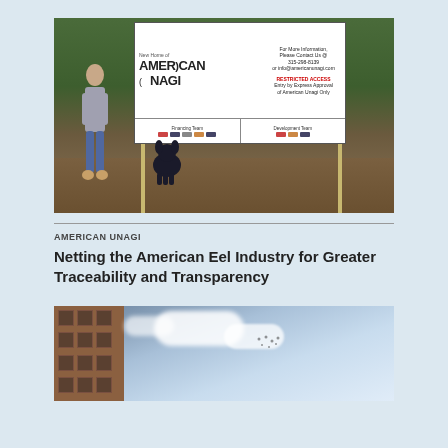[Figure (photo): Woman standing next to a dog in front of a large sign reading 'New Home of American Unagi' on a dirt lot with trees in background. Sign shows financing and development team logos.]
AMERICAN UNAGI
Netting the American Eel Industry for Greater Traceability and Transparency
[Figure (photo): Partial view of a brick building facade on the left with a blue sky and white clouds on the right, with small dark dots possibly birds.]